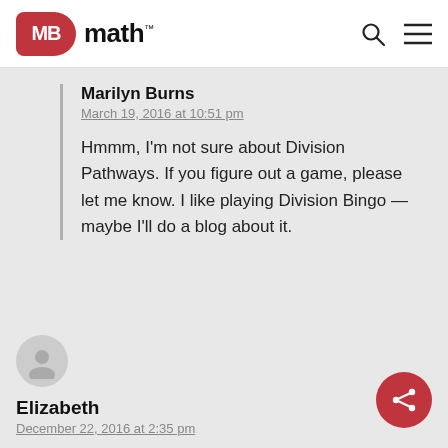MB math™
Marilyn Burns
March 19, 2016 at 10:51 pm

Hmmm, I'm not sure about Division Pathways. If you figure out a game, please let me know. I like playing Division Bingo — maybe I'll do a blog about it.
Elizabeth
December 22, 2016 at 2:35 pm